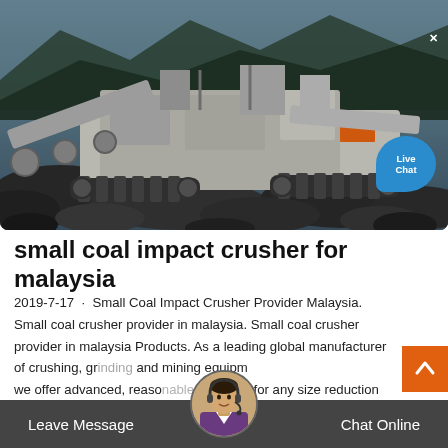[Figure (photo): Photograph of a large mobile coal crushing and screening machine on a rocky mining site, with mountains/forest in the background. The machine is white and grey with orange accents, on crawler tracks.]
small coal impact crusher for malaysia
2019-7-17 · Small Coal Impact Crusher Provider Malaysia. Small coal crusher provider in malaysia. Small coal crusher provider in malaysia Products. As a leading global manufacturer of crushing, grinding and mining equipment we offer advanced, reasonable solutions for any size reduction requirements including. Small coal crusher
Leave Message   Chat Online